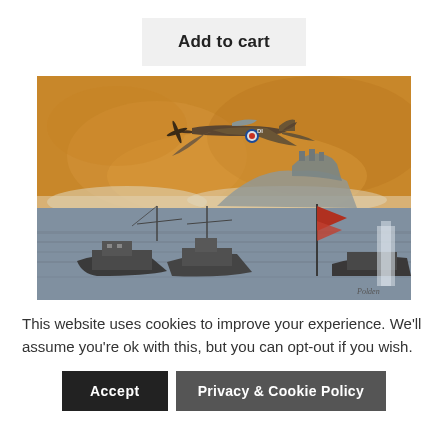Add to cart
[Figure (illustration): Painting of a WWII Spitfire aircraft flying over a harbor scene with ships and a rocky coastal fortress in the background, painted in warm orange/amber sky tones with grey-blue lower portion]
This website uses cookies to improve your experience. We'll assume you're ok with this, but you can opt-out if you wish.
Accept
Privacy & Cookie Policy